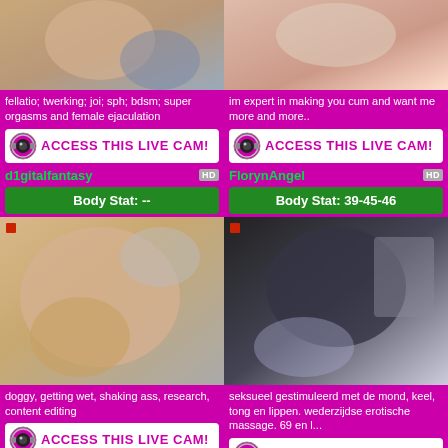[Figure (photo): Top-left thumbnail: partial body image]
fellatio; twerking; joi; sph; bdsm; super orgasms and female ejaculation
[Figure (infographic): ACCESS THIS LIVE CAM button with camera icon]
d1gitalfantasy
Body Stat: --
[Figure (photo): Top-right thumbnail: partial body image]
im expert in making you cum and want me more and more..
[Figure (infographic): ACCESS THIS LIVE CAM button with camera icon]
FlorynAngel
Body Stat: 39-45-46
[Figure (photo): Bottom-left thumbnail: person in underwear]
doggy, getting wet, shaking ass, research, content editing
[Figure (infographic): ACCESS THIS LIVE CAM button with camera icon]
[Figure (photo): Bottom-right thumbnail: person in black mesh top]
seksueel gestimuleerd met de mond, keel, tong en lippen. wederzijdse erotische massage. 69 en l...
[Figure (infographic): ACCESS THIS LIVE CAM button with camera icon]